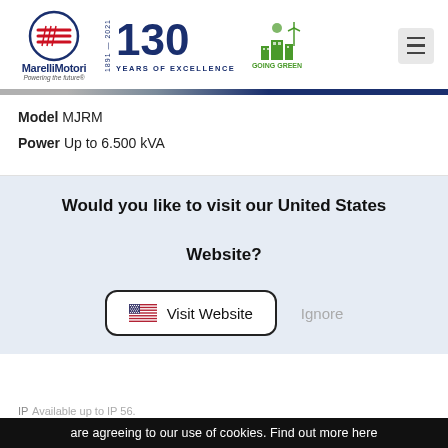[Figure (logo): MarelliMotori logo with circle emblem and tagline 'Powering the future', 130 Years of Excellence badge (1891-2021), Going Green logo]
Model MJRM
Power Up to 6.500 kVA
Would you like to visit our United States Website?
Visit Website  Ignore
are agreeing to our use of cookies. Find out more here
IP  Available up to IP 56.